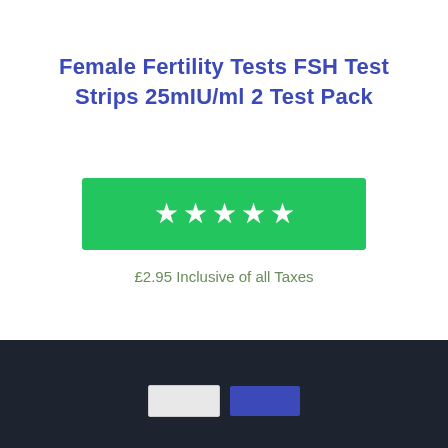Female Fertility Tests FSH Test Strips 25mIU/ml 2 Test Pack
[Figure (other): Green rating bar with 5 white star icons indicating a 5-star rating]
£2.95 Inclusive of all Taxes
[Figure (other): Dark footer bar with two buttons: a light grey button and a blue button]